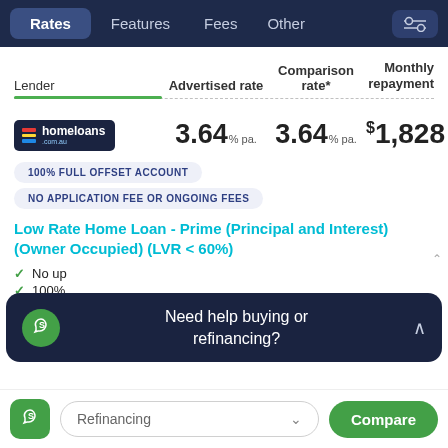Rates | Features | Fees | Other
| Lender | Advertised rate | Comparison rate* | Monthly repayment |
| --- | --- | --- | --- |
| homeloans.com.au | 3.64% pa | 3.64% pa | $1,828 |
100% FULL OFFSET ACCOUNT
NO APPLICATION FEE OR ONGOING FEES
Low Rate Home Loan - Prime (Principal and Interest) (Owner Occupied) (LVR < 60%)
No up...
100%...
Extra repayments + redraw services
[Figure (infographic): Help chat popup: 'Need help buying or refinancing?' with green S icon and close chevron]
Refinancing (dropdown) | Compare button